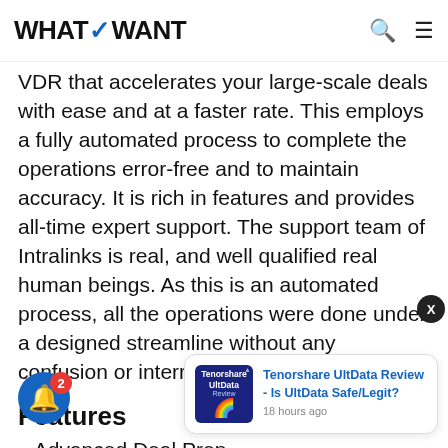WHATVWANT
VDR that accelerates your large-scale deals with ease and at a faster rate. This employs a fully automated process to complete the operations error-free and to maintain accuracy. It is rich in features and provides all-time expert support. The support team of Intralinks is real, and well qualified real human beings. As this is an automated process, all the operations were done under a designed streamline without any confusion or interruptions.
Features
Advanced Deal Prep
[Figure (screenshot): Advertisement card for Tenorshare UltData Review - Is UltData Safe/Legit? posted 18 hours ago, with thumbnail image of the product]